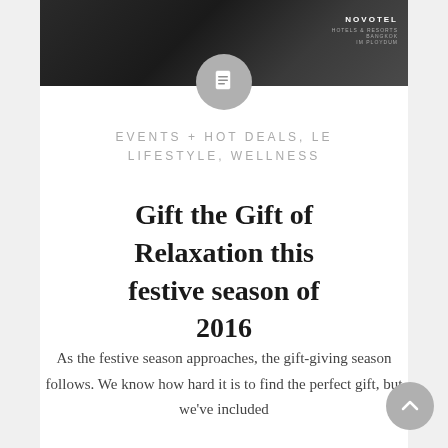[Figure (photo): Dark grayscale photo strip at the top of the page showing a hotel interior scene with a Novotel logo in the top right corner]
EVENTS + HOT DEALS, LE LIFESTYLE, WELLNESS
Gift the Gift of Relaxation this festive season of 2016
As the festive season approaches, the gift-giving season follows. We know how hard it is to find the perfect gift, but we've included…